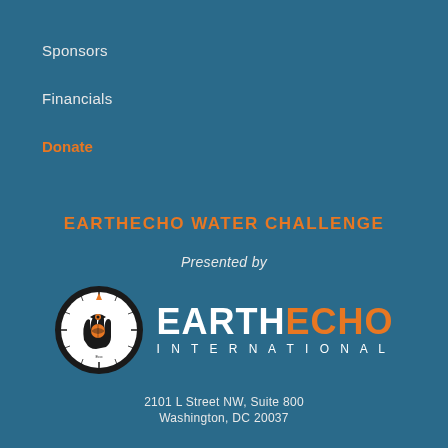Sponsors
Financials
Donate
EARTHECHO WATER CHALLENGE
Presented by
[Figure (logo): EarthEcho International logo — circular compass-style seal with a hand/eye graphic and orange globe, beside the text EARTHECHO in white and orange with INTERNATIONAL in white below]
2101 L Street NW, Suite 800
Washington, DC 20037